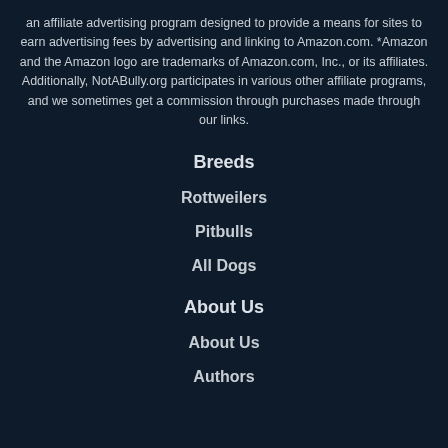an affiliate advertising program designed to provide a means for sites to earn advertising fees by advertising and linking to Amazon.com. *Amazon and the Amazon logo are trademarks of Amazon.com, Inc., or its affiliates. Additionally, NotABully.org participates in various other affiliate programs, and we sometimes get a commission through purchases made through our links.
Breeds
Rottweilers
Pitbulls
All Dogs
About Us
About Us
Authors